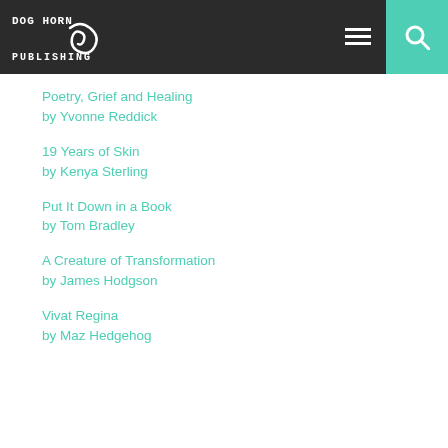[Figure (logo): Dog Horn Publishing logo — white stylized snake/horn with pixelated text on dark background]
Poetry, Grief and Healing by Yvonne Reddick
19 Years of Skin by Kenya Sterling
Put It Down in a Book by Tom Bradley
A Creature of Transformation by James Hodgson
Vivat Regina by Maz Hedgehog